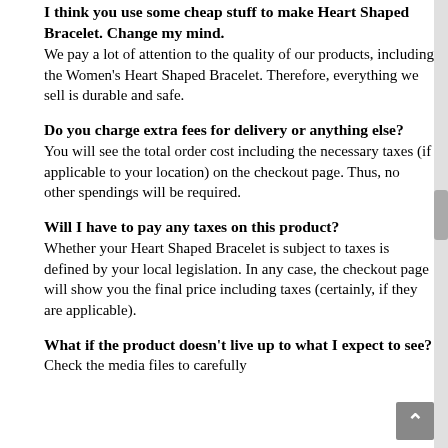I think you use some cheap stuff to make Heart Shaped Bracelet. Change my mind. We pay a lot of attention to the quality of our products, including the Women's Heart Shaped Bracelet. Therefore, everything we sell is durable and safe.
Do you charge extra fees for delivery or anything else?
You will see the total order cost including the necessary taxes (if applicable to your location) on the checkout page. Thus, no other spendings will be required.
Will I have to pay any taxes on this product?
Whether your Heart Shaped Bracelet is subject to taxes is defined by your local legislation. In any case, the checkout page will show you the final price including taxes (certainly, if they are applicable).
What if the product doesn't live up to what I expect to see?
Check the media files to carefully